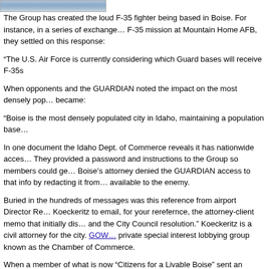[Figure (photo): Partial image of sky/clouds at top left of page]
The Group has created the loud F-35 fighter being based in Boise. For instance, in a series of exchanges about the F-35 mission at Mountain Home AFB, they settled on this response:
“The U.S. Air Force is currently considering which Guard bases will receive F-35s
When opponents and the GUARDIAN noted the impact on the most densely populated areas, the response became:
“Boise is the most densely populated city in Idaho, maintaining a population base
In one document the Idaho Dept. of Commerce reveals it has nationwide access. They provided a password and instructions to the Group so members could get info. Boise’s attorney denied the GUARDIAN access to that info by redacting it from the documents as available to the enemy.
Buried in the hundreds of messages was this reference from airport Director Re... Koeckeritz to email, for your rerefernce, the attorney-client memo that initially dis... and the City Council resolution.” Koeckeritz is a civil attorney for the city. GOW... private special interest lobbying group known as the Chamber of Commerce.
When a member of what is now “Citizens for a Livable Boise” sent an invitation to a group of concerned citizens regarding the F-35, the neighborhood guy’s wife turned it... executive staffer: